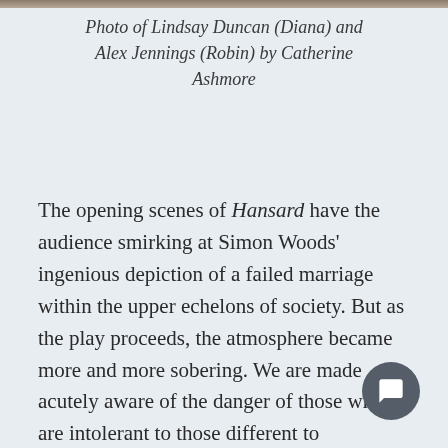[Figure (photo): Top strip showing a partial photograph of actors, cropped to a thin strip at the top of the page]
Photo of Lindsay Duncan (Diana) and Alex Jennings (Robin) by Catherine Ashmore
The opening scenes of Hansard have the audience smirking at Simon Woods' ingenious depiction of a failed marriage within the upper echelons of society. But as the play proceeds, the atmosphere became more and more sobering. We are made acutely aware of the danger of those who are intolerant to those different to themselves – and the fact that this is something we are, terrifyingly, witnessing a resurgence of today, exemplified by the rise of populist right groups.